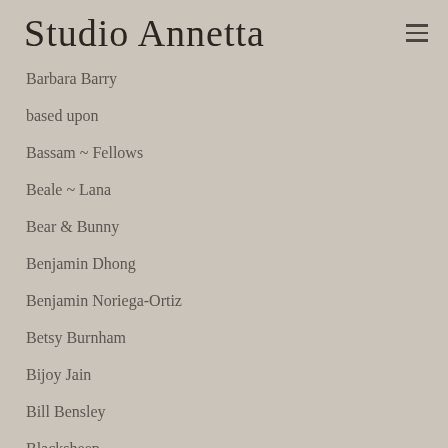Studio Annetta
Barbara Barry
based upon
Bassam ~ Fellows
Beale ~ Lana
Bear & Bunny
Benjamin Dhong
Benjamin Noriega-Ortiz
Betsy Burnham
Bijoy Jain
Bill Bensley
Blacksheep
Blainey North
Brad Ford
Brian Gluckstein
Brian J McCarthy
Brown Design